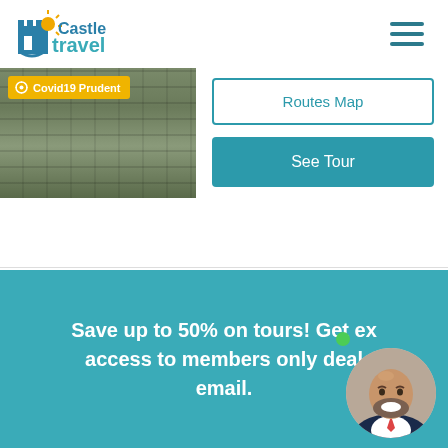[Figure (logo): Castle Travel logo with castle tower icon and sun]
[Figure (illustration): Hamburger menu icon (three horizontal lines)]
[Figure (photo): Photo of stone ruins or castle wall with vegetation]
⚙ Covid19 Prudent
Routes Map
See Tour
Save up to 50% on tours! Get exclusive access to members only deals by email.
[Figure (photo): Circular profile photo of smiling bald man with beard wearing suit]